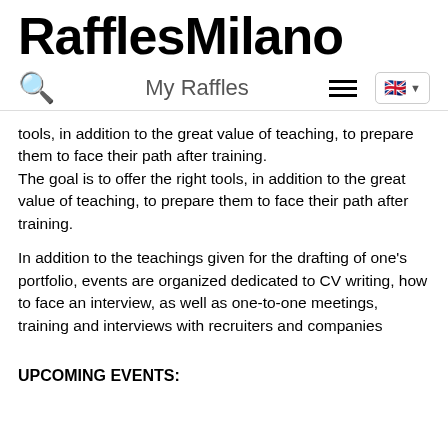RafflesMilano
My Raffles
tools, in addition to the great value of teaching, to prepare them to face their path after training.
The goal is to offer the right tools, in addition to the great value of teaching, to prepare them to face their path after training.
In addition to the teachings given for the drafting of one's portfolio, events are organized dedicated to CV writing, how to face an interview, as well as one-to-one meetings, training and interviews with recruiters and companies
UPCOMING EVENTS: